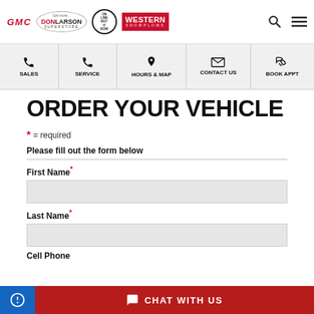[Figure (logo): Website header with GMC logo, Don Larson Superstore logo, circular badge, Western Snowplows logo, search icon, and hamburger menu icon]
[Figure (screenshot): Navigation bar with Sales, Service, Hours & Map, Contact Us, Book Appt items with icons]
ORDER YOUR VEHICLE
* = required
Please fill out the form below
First Name *
Last Name *
Cell Phone